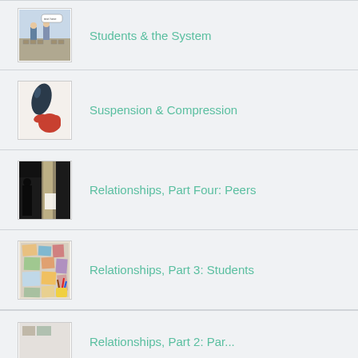Students & the System
Suspension & Compression
Relationships, Part Four: Peers
Relationships, Part 3: Students
Relationships, Part 2: Par...